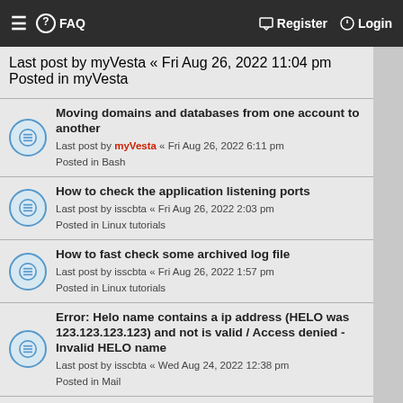≡  FAQ    Register   Login
Last post by myVesta « Fri Aug 26, 2022 11:04 pm
Posted in myVesta
Moving domains and databases from one account to another
Last post by myVesta « Fri Aug 26, 2022 6:11 pm
Posted in Bash
How to check the application listening ports
Last post by isscbta « Fri Aug 26, 2022 2:03 pm
Posted in Linux tutorials
How to fast check some archived log file
Last post by isscbta « Fri Aug 26, 2022 1:57 pm
Posted in Linux tutorials
Error: Helo name contains a ip address (HELO was 123.123.123.123) and not is valid / Access denied - Invalid HELO name
Last post by isscbta « Wed Aug 24, 2022 12:38 pm
Posted in Mail
How to make custom logrotate script
Last post by isscbta « Wed Aug 24, 2022 12:29 pm
Posted in Linux tutorials
How to see PHP files that are recently uploaded/modified on some domain
Last post by isscbta « Tue Aug 23, 2022 1:37 pm
Posted in Security